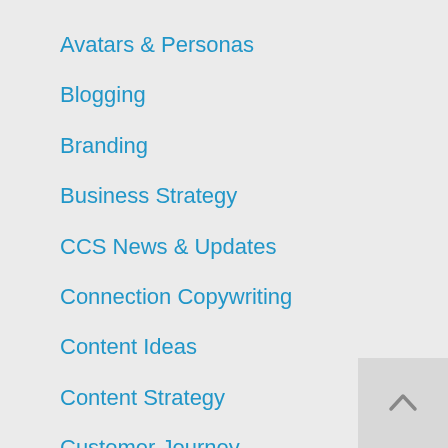Avatars & Personas
Blogging
Branding
Business Strategy
CCS News & Updates
Connection Copywriting
Content Ideas
Content Strategy
Customer Journey
Disney
For Agencies
Lawyerist
Marketing